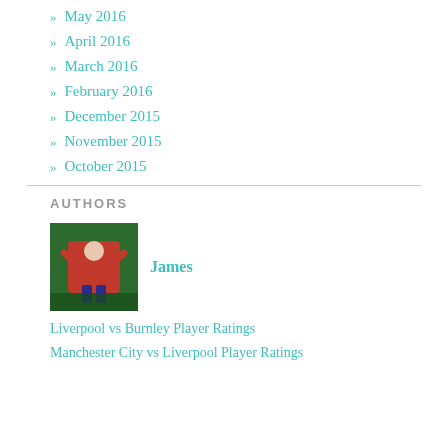May 2016
April 2016
March 2016
February 2016
December 2015
November 2015
October 2015
AUTHORS
[Figure (photo): Photo of a Liverpool footballer in red kit with arms raised]
James
Liverpool vs Burnley Player Ratings
Manchester City vs Liverpool Player Ratings